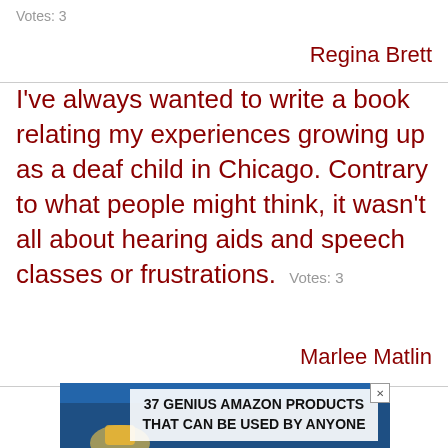Votes: 3
Regina Brett
I've always wanted to write a book relating my experiences growing up as a deaf child in Chicago. Contrary to what people might think, it wasn't all about hearing aids and speech classes or frustrations.  Votes: 3
Marlee Matlin
[Figure (screenshot): Advertisement banner showing '37 GENIUS AMAZON PRODUCTS THAT CAN BE USED BY ANYONE' with a photo of a person sleeping next to a glowing lamp on a blue-lit background.]